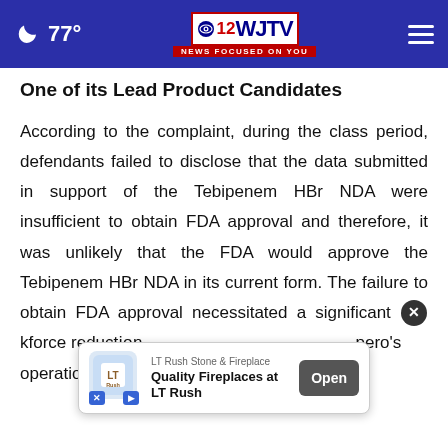77° WJTV 12 NEWS FOCUSED ON YOU
One of its Lead Product Candidates
According to the complaint, during the class period, defendants failed to disclose that the data submitted in support of the Tebipenem HBr NDA were insufficient to obtain FDA approval and therefore, it was unlikely that the FDA would approve the Tebipenem HBr NDA in its current form. The failure to obtain FDA approval necessitated a significant workforce reduction … pero's operations, and as a result, the Company's
[Figure (screenshot): Advertisement overlay for LT Rush Stone & Fireplace: Quality Fireplaces at LT Rush, with Open button]